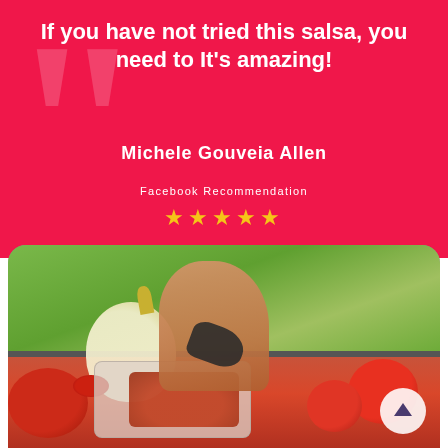If you have not tried this salsa, you need to It's amazing!
Michele Gouveia Allen
Facebook Recommendation
★★★★★
[Figure (photo): Photo of a hand dipping a tortilla chip into a small container of salsa, surrounded by tomatoes, onion, and red peppers on a surface with green background]